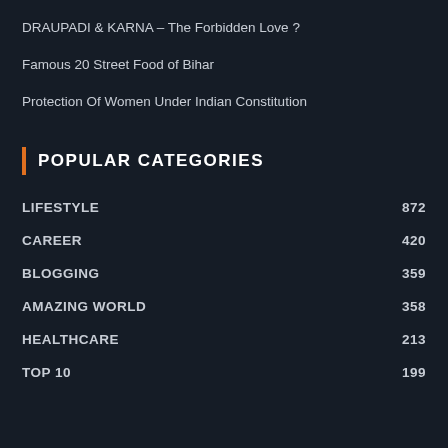DRAUPADI & KARNA – The Forbidden Love ?
Famous 20 Street Food of Bihar
Protection Of Women Under Indian Constitution
POPULAR CATEGORIES
LIFESTYLE 872
CAREER 420
BLOGGING 359
AMAZING WORLD 358
HEALTHCARE 213
TOP 10 199